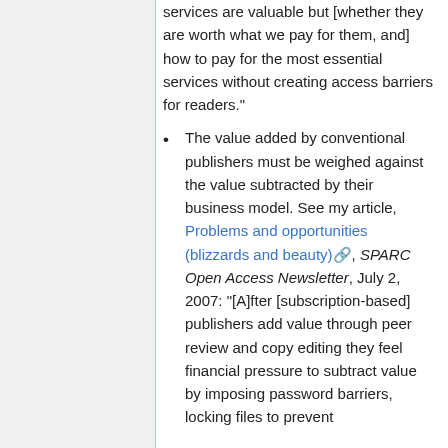services are valuable but [whether they are worth what we pay for them, and] how to pay for the most essential services without creating access barriers for readers."
The value added by conventional publishers must be weighed against the value subtracted by their business model. See my article, Problems and opportunities (blizzards and beauty), SPARC Open Access Newsletter, July 2, 2007: "[A]fter [subscription-based] publishers add value through peer review and copy editing they feel financial pressure to subtract value by imposing password barriers, locking files to prevent